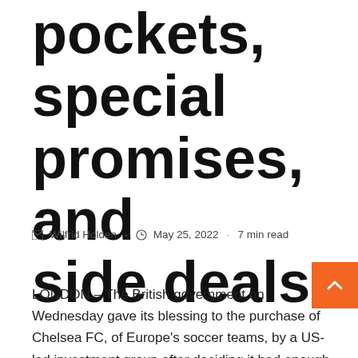pockets, special promises, and side deals
Wilfrid Holden · May 25, 2022 · 7 min read
LONDON – The British government on Wednesday gave its blessing to the purchase of Chelsea FC, of Europe's soccer teams, by a US-led investment group after deciding it had enough assurance that none of